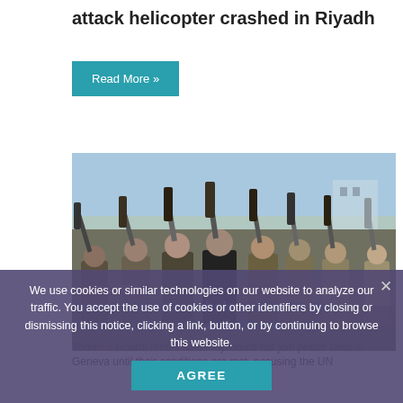attack helicopter crashed in Riyadh
Read More »
[Figure (photo): Group of armed men holding rifles up in the air, likely in a Middle Eastern context, outdoor setting with blue sky]
We use cookies or similar technologies on our website to analyze our traffic. You accept the use of cookies or other identifiers by closing or dismissing this notice, clicking a link, button, or by continuing to browse this website.
AGREE
Yemen's Houthi rebels refuse to join Geneva talks until conditions met
Yemen's Houthi rebels said they would not join peace talks in Geneva until their conditions are met, accusing the UN